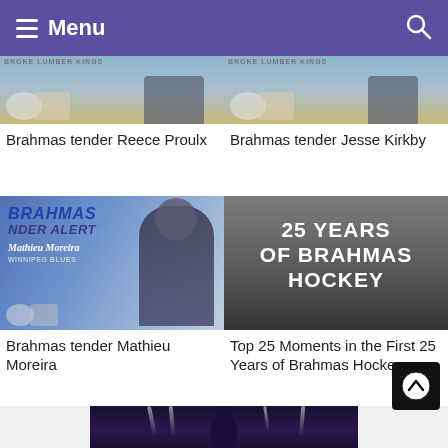Menu
[Figure (photo): Partial hockey player photo with Broke Lumber Kings branding, cropped at top]
Brahmas tender Reece Proulx
[Figure (photo): Partial hockey player photo with Broke Lumber Kings branding, cropped at top]
Brahmas tender Jesse Kirkby
[Figure (photo): Brahmas Tender Alert graphic featuring Mathieu Moreira from Winnipeg Blues in a suit]
Brahmas tender Mathieu Moreira
[Figure (photo): 25 Years of Brahmas Hockey promotional image with crowd in background]
Top 25 Moments in the First 25 Years of Brahmas Hockey
[Figure (photo): Bottom partial image showing stage lights and a person silhouette]